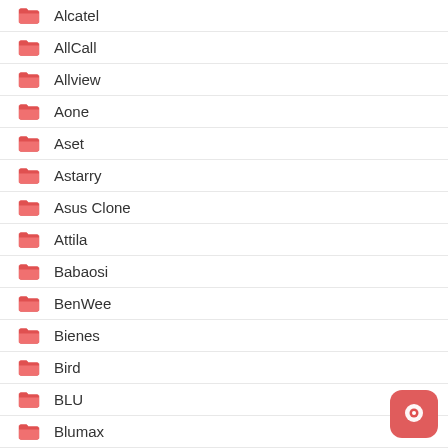Alcatel
AllCall
Allview
Aone
Aset
Astarry
Asus Clone
Attila
Babaosi
BenWee
Bienes
Bird
BLU
Blumax
Boot(DA) File